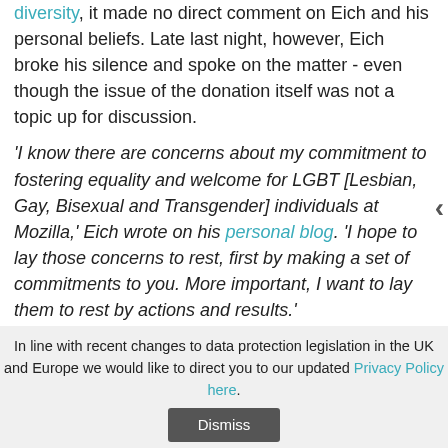diversity, it made no direct comment on Eich and his personal beliefs. Late last night, however, Eich broke his silence and spoke on the matter - even though the issue of the donation itself was not a topic up for discussion.
'I know there are concerns about my commitment to fostering equality and welcome for LGBT [Lesbian, Gay, Bisexual and Transgender] individuals at Mozilla,' Eich wrote on his personal blog. 'I hope to lay those concerns to rest, first by making a set of commitments to you. More important, I want to lay them to rest by actions and results.'
Eich's commitments include the promise of full equality in employment, Mozilla-run events and within the Mozilla community, continued work with LGBT communities, no changes to the community participation guidelines or the
In line with recent changes to data protection legislation in the UK and Europe we would like to direct you to our updated Privacy Policy here.